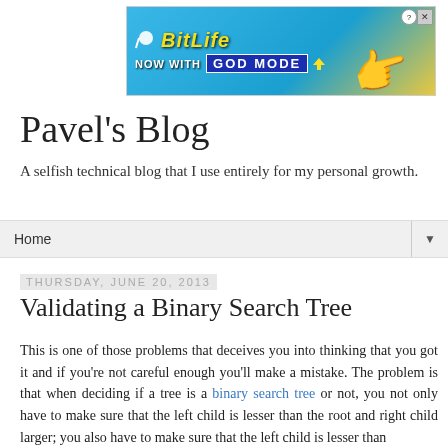[Figure (advertisement): BitLife 'NOW WITH GOD MODE' banner advertisement with blue background, yellow BitLife logo text, and a pointing hand illustration]
Pavel's Blog
A selfish technical blog that I use entirely for my personal growth.
Home ▼
Thursday, June 20, 2013
Validating a Binary Search Tree
This is one of those problems that deceives you into thinking that you got it and if you're not careful enough you'll make a mistake. The problem is that when deciding if a tree is a binary search tree or not, you not only have to make sure that the left child is lesser than the root and right child larger; you also have to make sure that the left child is lesser than